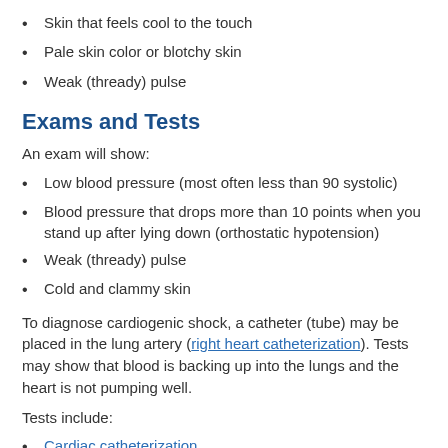Skin that feels cool to the touch
Pale skin color or blotchy skin
Weak (thready) pulse
Exams and Tests
An exam will show:
Low blood pressure (most often less than 90 systolic)
Blood pressure that drops more than 10 points when you stand up after lying down (orthostatic hypotension)
Weak (thready) pulse
Cold and clammy skin
To diagnose cardiogenic shock, a catheter (tube) may be placed in the lung artery (right heart catheterization). Tests may show that blood is backing up into the lungs and the heart is not pumping well.
Tests include:
Cardiac catheterization
Chest x-ray